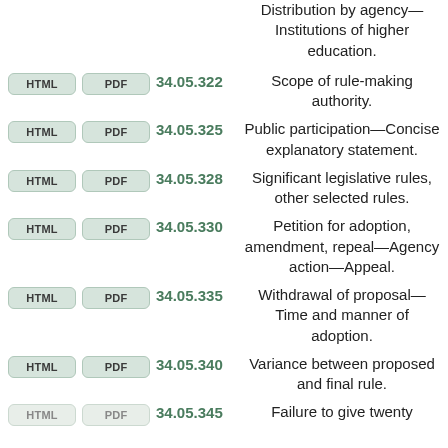Distribution by agency—Institutions of higher education.
34.05.322 Scope of rule-making authority.
34.05.325 Public participation—Concise explanatory statement.
34.05.328 Significant legislative rules, other selected rules.
34.05.330 Petition for adoption, amendment, repeal—Agency action—Appeal.
34.05.335 Withdrawal of proposal—Time and manner of adoption.
34.05.340 Variance between proposed and final rule.
34.05.345 Failure to give twenty...